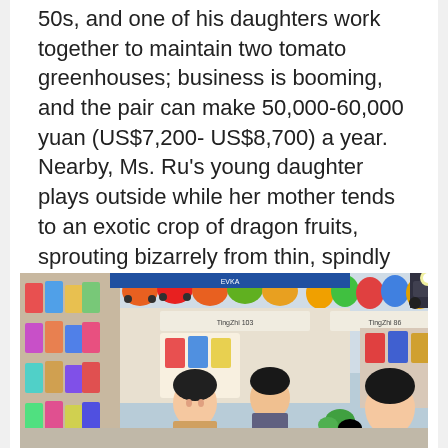50s, and one of his daughters work together to maintain two tomato greenhouses; business is booming, and the pair can make 50,000-60,000 yuan (US$7,200- US$8,700) a year. Nearby, Ms. Ru's young daughter plays outside while her mother tends to an exotic crop of dragon fruits, sprouting bizarrely from thin, spindly stems that look like parts of a cactus.
[Figure (photo): Indoor market or children's retail shop scene showing two young women and colorful merchandise including helmets, toys, and clothing displays.]